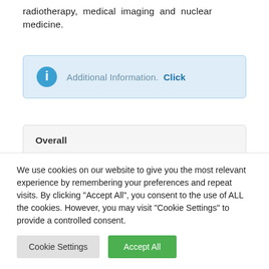radiotherapy, medical imaging and nuclear medicine.
[Figure (infographic): Blue info box with circle-i icon and text: Additional Information. Click]
Overall
We use cookies on our website to give you the most relevant experience by remembering your preferences and repeat visits. By clicking "Accept All", you consent to the use of ALL the cookies. However, you may visit "Cookie Settings" to provide a controlled consent.